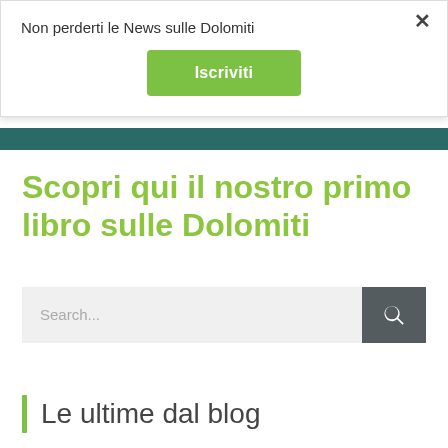Non perderti le News sulle Dolomiti
Iscriviti
Scopri qui il nostro primo libro sulle Dolomiti
Search...
Le ultime dal blog